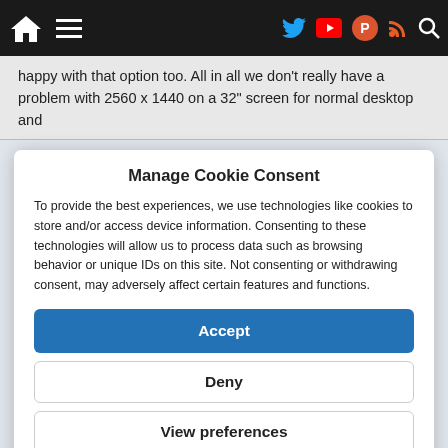Navigation bar with home, menu, Twitter, YouTube, Product Hunt, RSS, and Search icons
happy with that option too. All in all we don't really have a problem with 2560 x 1440 on a 32" screen for normal desktop and
Manage Cookie Consent
To provide the best experiences, we use technologies like cookies to store and/or access device information. Consenting to these technologies will allow us to process data such as browsing behavior or unique IDs on this site. Not consenting or withdrawing consent, may adversely affect certain features and functions.
Accept
Deny
View preferences
Cookie Policy   Privacy Policy and Cookies